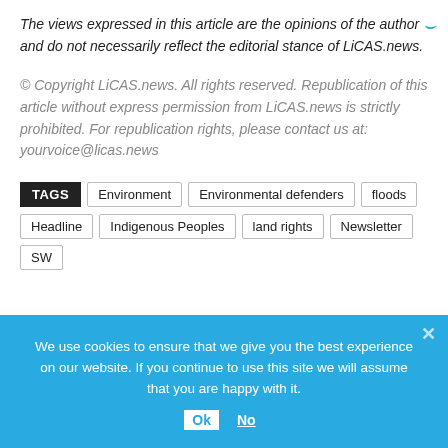The views expressed in this article are the opinions of the author and do not necessarily reflect the editorial stance of LiCAS.news.
© Copyright LiCAS.news. All rights reserved. Republication of this article without express permission from LiCAS.news is strictly prohibited. For republication rights, please contact us at: yourvoice@licas.news
TAGS  Environment  Environmental defenders  floods  Headline  Indigenous Peoples  land rights  Newsletter  SW
We use cookies to ensure that we give you the best experience on our website. If you continue to use this site we will assume that you are happy with it.